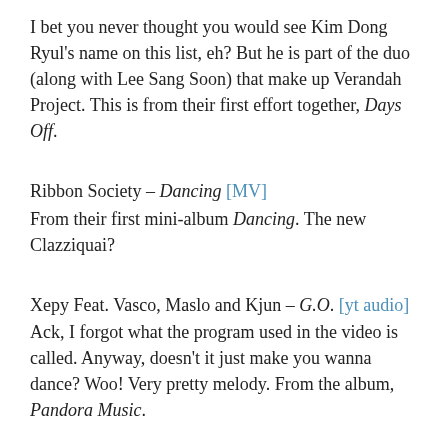I bet you never thought you would see Kim Dong Ryul's name on this list, eh? But he is part of the duo (along with Lee Sang Soon) that make up Verandah Project. This is from their first effort together, Days Off.
Ribbon Society – Dancing [MV]
From their first mini-album Dancing. The new Clazziquai?
Xepy Feat. Vasco, Maslo and Kjun – G.O. [yt audio]
Ack, I forgot what the program used in the video is called. Anyway, doesn't it just make you wanna dance? Woo! Very pretty melody. From the album, Pandora Music.
JB – The Same Day [MV]
From her second single, Emotion.
Maplestory DS [PV]
I somehow imagined the characters would look cuter than that. Still, pretty cool that there will be a DS version. Online